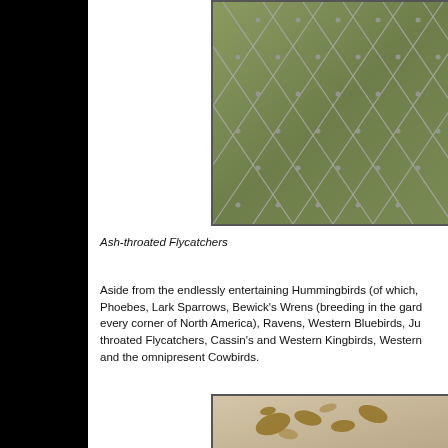[Figure (photo): Close-up photograph of wire mesh or netting with a green blurred background, showing diamond-pattern metal fencing with twisted wire joints.]
Ash-throated Flycatchers
Aside from the endlessly entertaining Hummingbirds (of which, Phoebes, Lark Sparrows, Bewick's Wrens (breeding in the gard every corner of North America), Ravens, Western Bluebirds, Ju throated Flycatchers, Cassin's and Western Kingbirds, Western and the omnipresent Cowbirds.
[Figure (photo): Partial photograph showing what appears to be birds or feathery/dried plant material on a beige/tan background, cropped at the bottom of the page.]